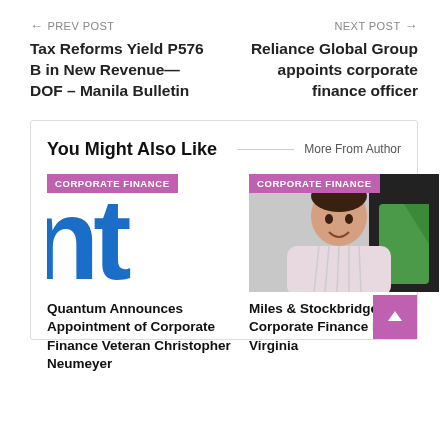← PREV POST | NEXT POST →
Tax Reforms Yield P576 B in New Revenue—DOF – Manila Bulletin
Reliance Global Group appoints corporate finance officer
You Might Also Like
More From Author
[Figure (logo): Blue 'nt' letters logo on white background with CORPORATE FINANCE badge]
Quantum Announces Appointment of Corporate Finance Veteran Christopher Neumeyer
[Figure (photo): Smiling man in pink striped shirt with green logo in background, with CORPORATE FINANCE badge]
Miles & Stockbridge Hires Corporate Finance Firm in Virginia